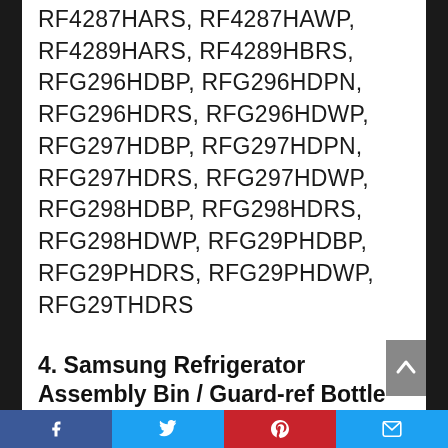RF4287HARS, RF4287HAWP, RF4289HARS, RF4289HBRS, RFG296HDBP, RFG296HDPN, RFG296HDRS, RFG296HDWP, RFG297HDBP, RFG297HDPN, RFG297HDRS, RFG297HDWP, RFG298HDBP, RFG298HDRS, RFG298HDWP, RFG29PHDBP, RFG29PHDRS, RFG29PHDWP, RFG29THDRS
4. Samsung Refrigerator Assembly Bin / Guard-ref Bottle DA97-11500a